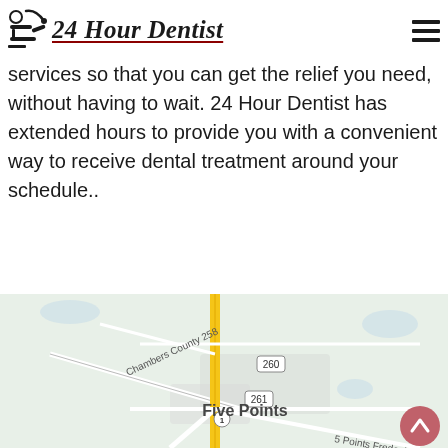24 Hour Dentist
services so that you can get the relief you need, without having to wait. 24 Hour Dentist has extended hours to provide you with a convenient way to receive dental treatment around your schedule..
[Figure (map): Google Maps screenshot showing Five Points area with Chambers County 258, route 260, route 261, route 1, and 5 Points Fredonia road labels on a light green/grey road map background with a yellow highlighted road running vertically.]